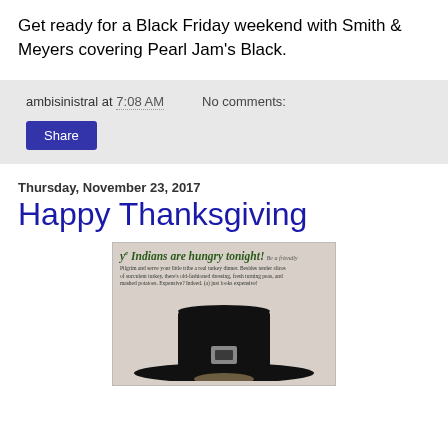Get ready for a Black Friday weekend with Smith & Meyers covering Pearl Jam's Black.
ambisinistral at 7:08 AM   No comments:
Share
Thursday, November 23, 2017
Happy Thanksgiving
[Figure (photo): Vintage advertisement with text 'ye Indians are hungry tonight!' featuring a pilgrim hat silhouette]